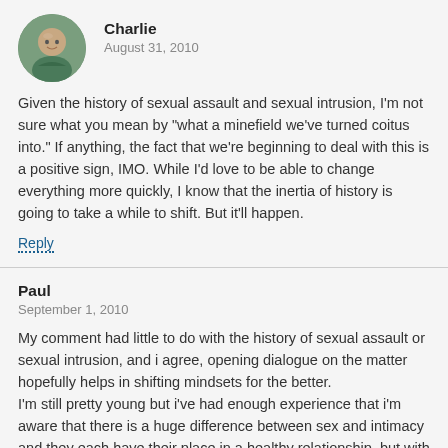[Figure (photo): Circular avatar photo of a bald man wearing a green shirt]
Charlie
August 31, 2010
Given the history of sexual assault and sexual intrusion, I'm not sure what you mean by "what a minefield we've turned coitus into." If anything, the fact that we're beginning to deal with this is a positive sign, IMO. While I'd love to be able to change everything more quickly, I know that the inertia of history is going to take a while to shift. But it'll happen.
Reply
Paul
September 1, 2010
My comment had little to do with the history of sexual assault or sexual intrusion, and i agree, opening dialogue on the matter hopefully helps in shifting mindsets for the better.
I'm still pretty young but i've had enough experience that i'm aware that there is a huge difference between sex and intimacy and they each have their place in a healthy relationship, but with the natural progression of love